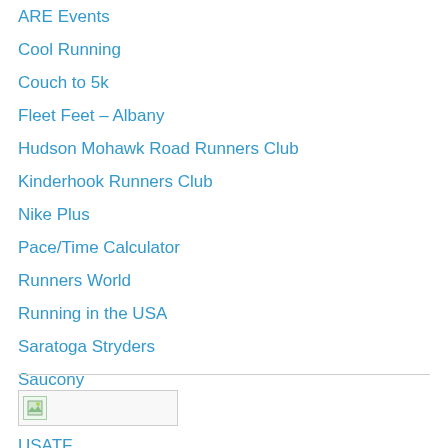ARE Events
Cool Running
Couch to 5k
Fleet Feet – Albany
Hudson Mohawk Road Runners Club
Kinderhook Runners Club
Nike Plus
Pace/Time Calculator
Runners World
Running in the USA
Saratoga Stryders
Saucony
UAlbany Route
USATF
Walk Jog Run Route Calculator
[Figure (other): Small image placeholder with icon, likely a banner or badge image]